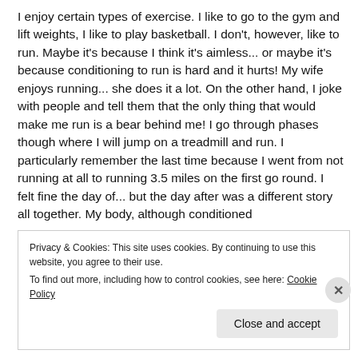I enjoy certain types of exercise. I like to go to the gym and lift weights, I like to play basketball. I don't, however, like to run. Maybe it's because I think it's aimless... or maybe it's because conditioning to run is hard and it hurts! My wife enjoys running... she does it a lot. On the other hand, I joke with people and tell them that the only thing that would make me run is a bear behind me! I go through phases though where I will jump on a treadmill and run. I particularly remember the last time because I went from not running at all to running 3.5 miles on the first go round. I felt fine the day of... but the day after was a different story all together. My body, although conditioned
Privacy & Cookies: This site uses cookies. By continuing to use this website, you agree to their use.
To find out more, including how to control cookies, see here: Cookie Policy